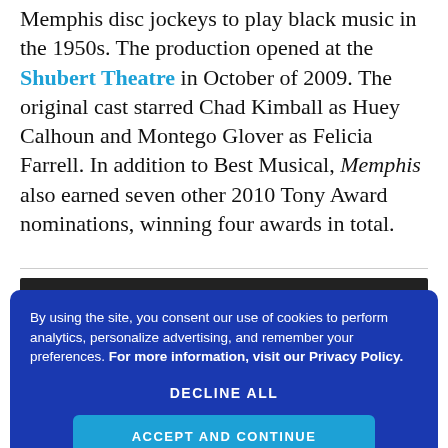Memphis disc jockeys to play black music in the 1950s. The production opened at the Shubert Theatre in October of 2009. The original cast starred Chad Kimball as Huey Calhoun and Montego Glover as Felicia Farrell. In addition to Best Musical, Memphis also earned seven other 2010 Tony Award nominations, winning four awards in total.
[Figure (other): Dark video player block]
By using the site, you consent our use of cookies to perform analytics, personalize advertising, and remember your preferences. For more information, visit our Privacy Policy.
DECLINE ALL
ACCEPT AND CONTINUE